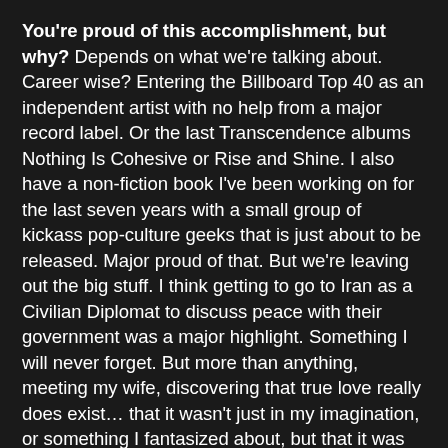You're proud of this accomplishment, but why? Depends on what we're talking about. Career wise? Entering the Billboard Top 40 as an independent artist with no help from a major record label. Or the last Transcendence albums Nothing Is Cohesive or Rise and Shine. I also have a non-fiction book I've been working on for the last seven years with a small group of kickass pop-culture geeks that is just about to be released. Major proud of that. But we're leaving out the big stuff. I think getting to go to Iran as a Civilian Diplomat to discuss peace with their government was a major highlight. Something I will never forget. But more than anything, meeting my wife, discovering that true love really does exist… that it wasn't just in my imagination, or something I fantasized about, but that it was real. But the catch is that you have to commit. Through that commitment, the other in turn commits and then it really kicks in, in a way that we never really understand until we